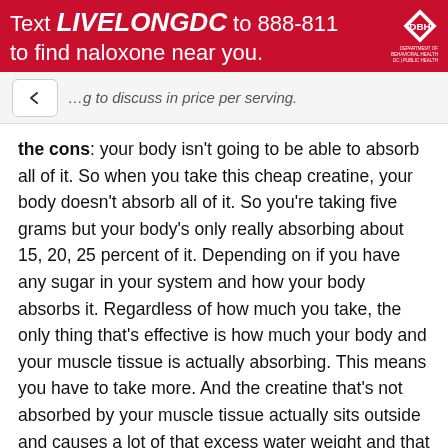[Figure (infographic): Red banner advertisement: 'Text LIVELONGDC to 888-811 to find naloxone near you.' with DBH diamond logo]
...g to discuss in price per serving.
the cons: your body isn't going to be able to absorb all of it. So when you take this cheap creatine, your body doesn't absorb all of it. So you're taking five grams but your body's only really absorbing about 15, 20, 25 percent of it. Depending on if you have any sugar in your system and how your body absorbs it. Regardless of how much you take, the only thing that's effective is how much your body and your muscle tissue is actually absorbing. This means you have to take more. And the creatine that's not absorbed by your muscle tissue actually sits outside and causes a lot of that excess water weight and that bloating effect that associated with the cheaper forms of creatine. You still are going to get some in your skeletal tissue.